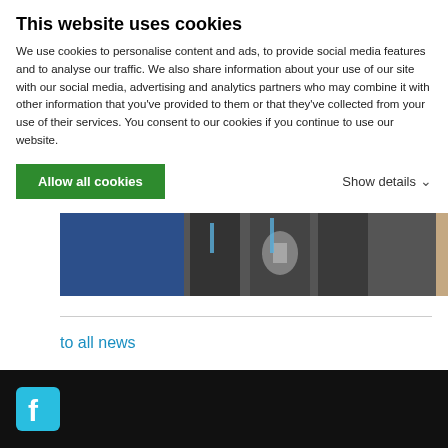This website uses cookies
We use cookies to personalise content and ads, to provide social media features and to analyse our traffic. We also share information about your use of our site with our social media, advertising and analytics partners who may combine it with other information that you've provided to them or that they've collected from your use of their services. You consent to our cookies if you continue to use our website.
Allow all cookies
Show details
[Figure (photo): Partial photo of people in suits holding an award trophy, with awards.globalsmt.n... URL visible on blue background]
to all news
[Figure (logo): Facebook icon in cyan/light blue square on dark footer background]